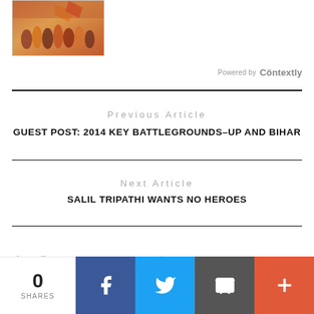[Figure (photo): Small thumbnail image showing a colorful crowd/procession painting]
Powered by Contextly
Previous Article
GUEST POST: 2014 KEY BATTLEGROUNDS–UP AND BIHAR
Next Article
SALIL TRIPATHI WANTS NO HEROES
4 Comments
0 SHARES